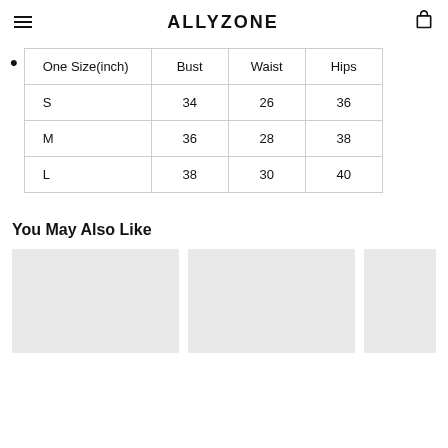ALLYZONE
| One Size(inch) | Bust | Waist | Hips |
| --- | --- | --- | --- |
| S | 34 | 26 | 36 |
| M | 36 | 28 | 38 |
| L | 38 | 30 | 40 |
You May Also Like
[Figure (photo): Three product image placeholders shown as light grey rectangles]